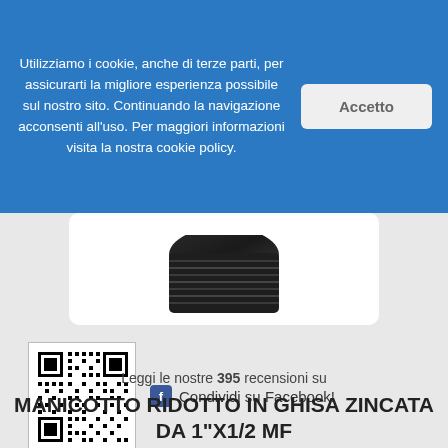Utilizziamo i cookie, anche di terze parti, per assicurarti la migliore esperienza possibile sul nostro sito. Continuando la navigazione acconsenti all'uso. Per maggiori informazioni visita la nostra cookie policy.
Accetto
[Figure (photo): Close-up photo of a dark metal threaded fitting/screw (manicotto ridotto in ghisa zincata) partially visible in the upper portion of a white rounded rectangle product image box]
[Figure (other): QR code in a white bordered box]
Condividi su Facebook!
Leggi le nostre 395 recensioni su
MANICOTTO RIDOTTO IN GHISA ZINCATA DA 1"X1/2 MF